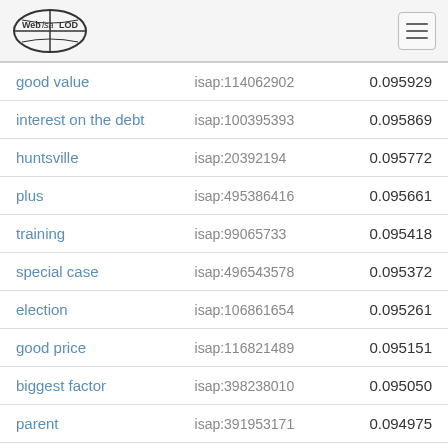Web isa LOD
| term | isap | value |
| --- | --- | --- |
| good value | isap:114062902 | 0.095929 |
| interest on the debt | isap:100395393 | 0.095869 |
| huntsville | isap:20392194 | 0.095772 |
| plus | isap:495386416 | 0.095661 |
| training | isap:99065733 | 0.095418 |
| special case | isap:496543578 | 0.095372 |
| election | isap:106861654 | 0.095261 |
| good price | isap:116821489 | 0.095151 |
| biggest factor | isap:398238010 | 0.095050 |
| parent | isap:391953171 | 0.094975 |